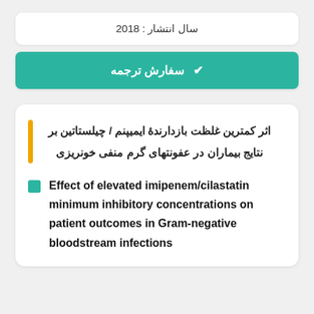سال انتشار : 2018
✔ سفارش ترجمه
اثر کمترین غلظت بازدارندۀ ایمیپنم / چیلستاتین بر نتایج بیماران در عفونتهای گرم منفی خونریزی
Effect of elevated imipenem/cilastatin minimum inhibitory concentrations on patient outcomes in Gram-negative bloodstream infections